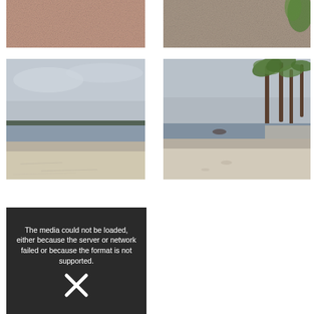[Figure (photo): Close-up photo of sandy/pink granular surface, top-left]
[Figure (photo): Close-up photo of sand or gravel surface with a green plant visible, top-right]
[Figure (photo): Beach scene with calm water, sandy shore, overcast sky and trees in distance, mid-left]
[Figure (photo): Beach scene with white sand, palm trees on right, overcast sky and a boat visible, mid-right]
[Figure (screenshot): Media player error box with dark background and text: The media could not be loaded, either because the server or network failed or because the format is not supported. With X icon at bottom.]